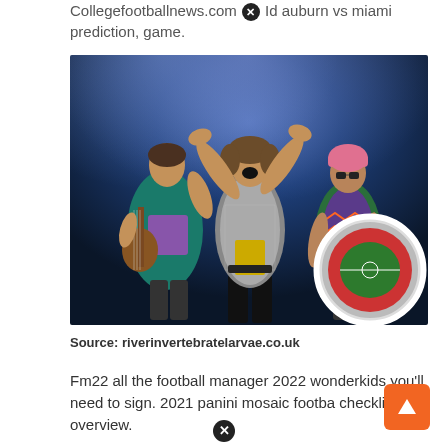Collegefootballnews.com [X] Id auburn vs miami prediction, game.
[Figure (photo): Three rock band performers on stage with blue stage lighting. Left figure plays guitar wearing teal jacket. Center figure has arms raised with mouth open, wearing silver/sequin jacket. Right figure wears pink hat and colorful jacket. A circular inset image of a football stadium (aerial view) is overlaid in the bottom-right corner of the photo.]
Source: riverinvertebratelarvae.co.uk
Fm22 all the football manager 2022 wonderkids you'll need to sign. 2021 panini mosaic football checklist overview.